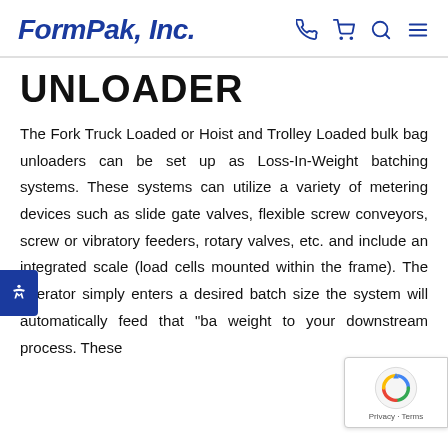FormPak, Inc.
UNLOADER
The Fork Truck Loaded or Hoist and Trolley Loaded bulk bag unloaders can be set up as Loss-In-Weight batching systems. These systems can utilize a variety of metering devices such as slide gate valves, flexible screw conveyors, screw or vibratory feeders, rotary valves, etc. and include an integrated scale (load cells mounted within the frame). The operator simply enters a desired batch size the system will automatically feed that "ba weight to your downstream process. These